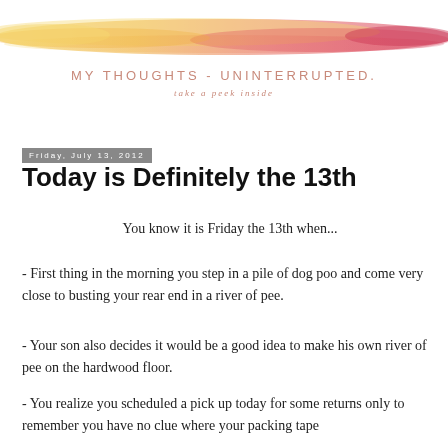[Figure (illustration): Blog header banner with watercolor paint strokes in yellow, orange, and red/pink gradient across the top, with blog title text 'MY THOUGHTS - UNINTERRUPTED.' and subtitle 'take a peek inside']
Friday, July 13, 2012
Today is Definitely the 13th
You know it is Friday the 13th when...
- First thing in the morning you step in a pile of dog poo and come very close to busting your rear end in a river of pee.
- Your son also decides it would be a good idea to make his own river of pee on the hardwood floor.
- You realize you scheduled a pick up today for some returns only to remember you have no clue where your packing tape...